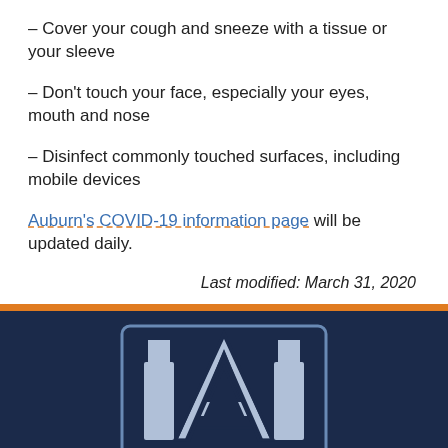– Cover your cough and sneeze with a tissue or your sleeve
– Don't touch your face, especially your eyes, mouth and nose
– Disinfect commonly touched surfaces, including mobile devices
Auburn's COVID-19 information page will be updated daily.
Last modified: March 31, 2020
[Figure (logo): Auburn University AU interlocking logo mark in silver/light blue on dark navy background]